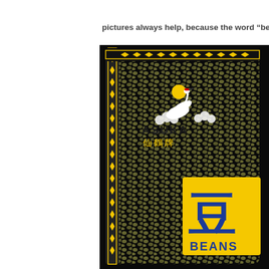pictures always help, because the word “beans” i…
[Figure (photo): Photograph of an Asuka Brand (仙鶴牌) transparent plastic bag filled with green/brown beans (mung beans). The bag has a yellow and black diamond-patterned border, a crane logo with sun graphic, Chinese characters, and a yellow label square with large blue Chinese character for 'bean' and the word BEANS in blue text. Background is black.]